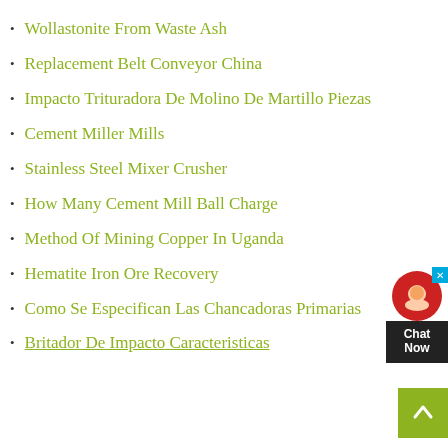Wollastonite From Waste Ash
Replacement Belt Conveyor China
Impacto Trituradora De Molino De Martillo Piezas
Cement Miller Mills
Stainless Steel Mixer Crusher
How Many Cement Mill Ball Charge
Method Of Mining Copper In Uganda
Hematite Iron Ore Recovery
Como Se Especifican Las Chancadoras Primarias
Britador De Impacto Caracteristicas